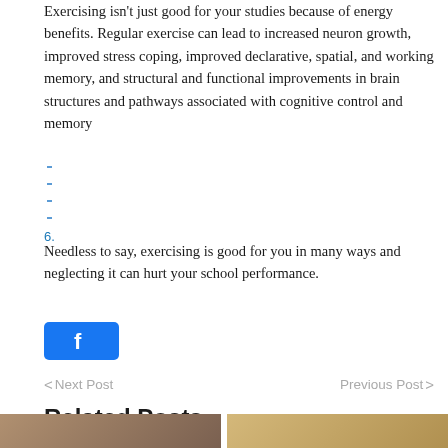Exercising isn't just good for your studies because of energy benefits. Regular exercise can lead to increased neuron growth, improved stress coping,  improved declarative, spatial, and working memory, and structural and functional improvements in brain structures and pathways associated with cognitive control and memory
6.
Needless to say, exercising is good for you in many ways and neglecting it can hurt your school performance.
[Figure (other): Facebook share button (blue rounded rectangle with Facebook icon)]
< Next Post    Previous Post >
Related Posts
[Figure (photo): Related posts image strip showing partial photographs]